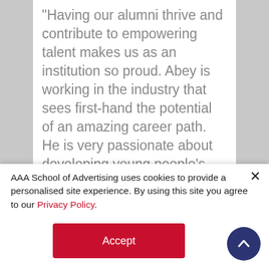“Having our alumni thrive and contribute to empowering talent makes us as an institution so proud. Abey is working in the industry that sees first-hand the potential of an amazing career path. He is very passionate about developing young people’s potential, and together our aim with this bursary is to facilitate the empowerment and talent of young people to succeed and grow in this industry”, says Dr. Ludi Koekemoer, Acting CEO of AAA School of Advertising.
AAA School of Advertising uses cookies to provide a personalised site experience. By using this site you agree to our Privacy Policy.